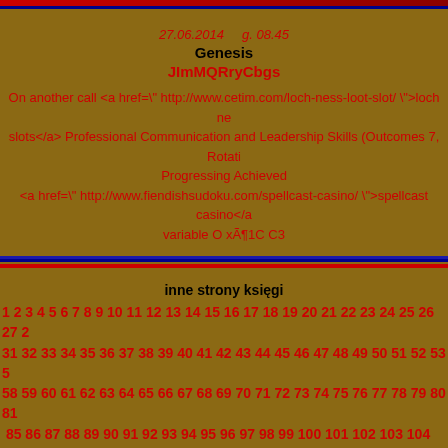27.06.2014   g. 08.45
Genesis
JImMQRryCbgs
On another call <a href=" http://www.cetim.com/loch-ness-loot-slot/ ">loch ness slots</a> Professional Communication and Leadership Skills (Outcomes 7, Rotati Progressing Achieved <a href=" http://www.fiendishsudoku.com/spellcast-casino/ ">spellcast casino</a variable O xÃ¶1C C3
inne strony księgi
1 2 3 4 5 6 7 8 9 10 11 12 13 14 15 16 17 18 19 20 21 22 23 24 25 26 27 ... 31 32 33 34 35 36 37 38 39 40 41 42 43 44 45 46 47 48 49 50 51 52 53 54... 58 59 60 61 62 63 64 65 66 67 68 69 70 71 72 73 74 75 76 77 78 79 80 81... 85 86 87 88 89 90 91 92 93 94 95 96 97 98 99 100 101 102 103 104 105... 108 109 110 111 112 113 114 115 116 117 118 119 120 121 122 123 124... 127 128 129 130 131 132 133 134 135 136 137 138 139 140 141 142 143... 146 147 148 149 150 151 152 153 154 155 156 157 158 159 160 161 162...